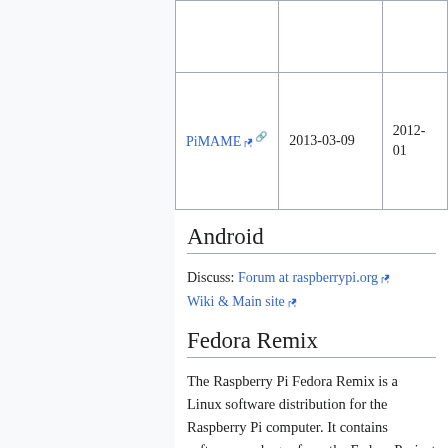| Name | Latest release | Initial release |
| --- | --- | --- |
|  |  |  |
| PiMAME | 2013-03-09 | 2012-...01 |
Android
Discuss: Forum at raspberrypi.org
Wiki & Main site
Fedora Remix
The Raspberry Pi Fedora Remix is a Linux software distribution for the Raspberry Pi computer. It contains software packages from the Fedora Project (specifically, the Fedora ARM secondary architecture project), packages which have been specifically